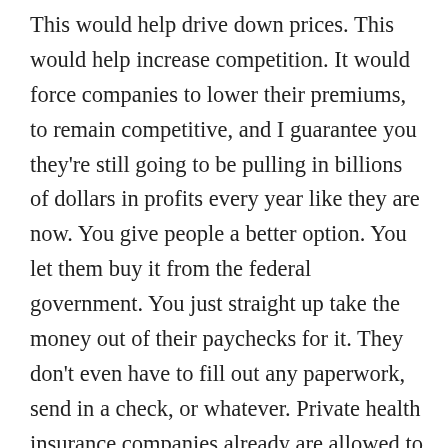This would help drive down prices. This would help increase competition. It would force companies to lower their premiums, to remain competitive, and I guarantee you they're still going to be pulling in billions of dollars in profits every year like they are now. You give people a better option. You let them buy it from the federal government. You just straight up take the money out of their paychecks for it. They don't even have to fill out any paperwork, send in a check, or whatever. Private health insurance companies already are allowed to do that. We're allowed to have pension money come out of our paychecks that go to private entities, so why not money that, instead of going to a private health insurance company, is going back to the federal government to buy health insurance